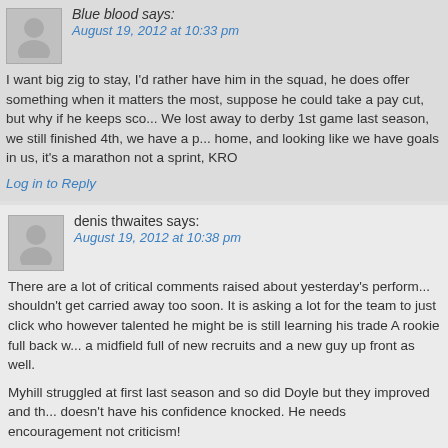Blue blood says:
August 19, 2012 at 10:33 pm
I want big zig to stay, I'd rather have him in the squad, he does offer something when it matters the most, suppose he could take a pay cut, but why if he keeps sco... We lost away to derby 1st game last season, we still finished 4th, we have a p... home, and looking like we have goals in us, it's a marathon not a sprint, KRO
Log in to Reply
denis thwaites says:
August 19, 2012 at 10:38 pm
There are a lot of critical comments raised about yesterday's perform... shouldn't get carried away too soon. It is asking a lot for the team to just click who however talented he might be is still learning his trade A rookie full back w... a midfield full of new recruits and a new guy up front as well.
Myhill struggled at first last season and so did Doyle but they improved and th... doesn't have his confidence knocked. He needs encouragement not criticism!
We have two very tough away games this week and my fear is that if we don't... which is likely that the knives will start getting sharpened over the new manag... need that. We took time to get going last year and its unrealistic to expect any
I agree that Morrison looked a gifted player yesterday and his temperament lo... biggest plus.
It takes time to get a cohesive style of play and we must wait and see if that m